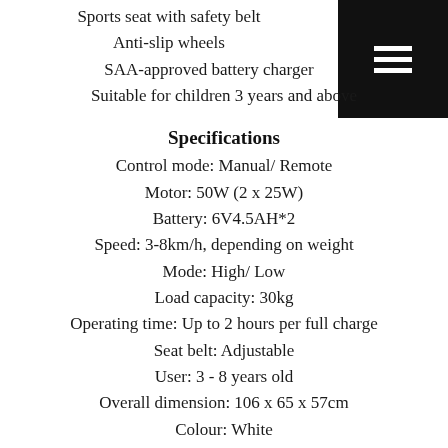Sports seat with safety belt
Anti-slip wheels
SAA-approved battery charger
Suitable for children 3 years and above
Specifications
Control mode: Manual/ Remote
Motor: 50W (2 x 25W)
Battery: 6V4.5AH*2
Speed: 3-8km/h, depending on weight
Mode: High/ Low
Load capacity: 30kg
Operating time: Up to 2 hours per full charge
Seat belt: Adjustable
User: 3 - 8 years old
Overall dimension: 106 x 65 x 57cm
Colour: White